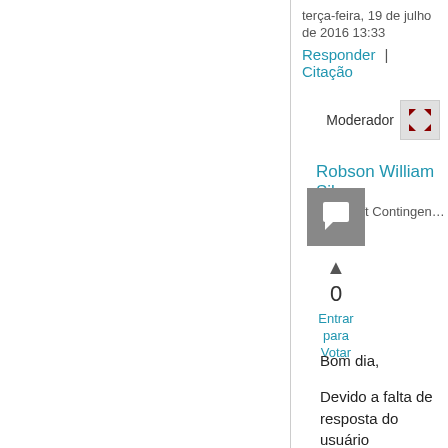terça-feira, 19 de julho de 2016 13:33
Responder | Citação
Moderador
Robson William Silva
Microsoft Contingent Staff
[Figure (illustration): User avatar icon - grey square with white speech bubble/flag icon]
▲
0
Entrar para Votar
Bom dia,
Devido a falta de resposta do usuário
essa thread está sendo fechada.
Se o problema ainda continua...